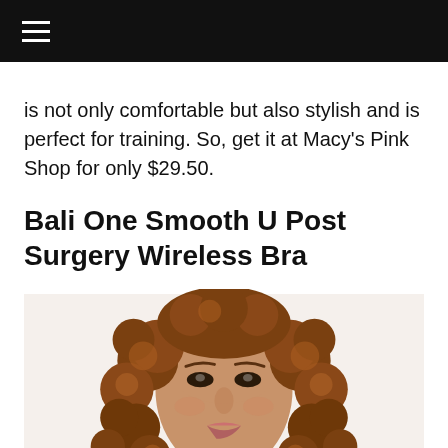Navigation menu header bar
is not only comfortable but also stylish and is perfect for training. So, get it at Macy's Pink Shop for only $29.50.
Bali One Smooth U Post Surgery Wireless Bra
[Figure (photo): A smiling woman with curly auburn hair wearing a light beige wireless bra, photographed from shoulders up against a white background.]